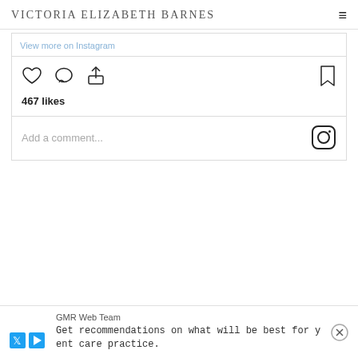VICTORIA ELIZABETH BARNES
View more on Instagram
[Figure (screenshot): Instagram embed action icons: heart (like), speech bubble (comment), share arrow on left; bookmark icon on right]
467 likes
Add a comment...
GMR Web Team
Get recommendations on what will be best for y
ent care practice.